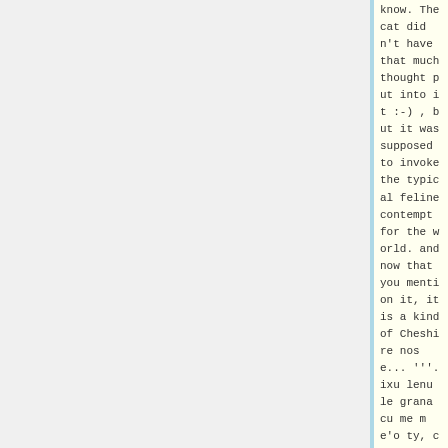know. The cat didn't have that much thought put into it :-) , but it was supposed to invoke the typical feline contempt for the world. and now that you mention it, it is a kind of Cheshire nose... '''.ixu lenu le grana cu me me'o ty, cu ka'e